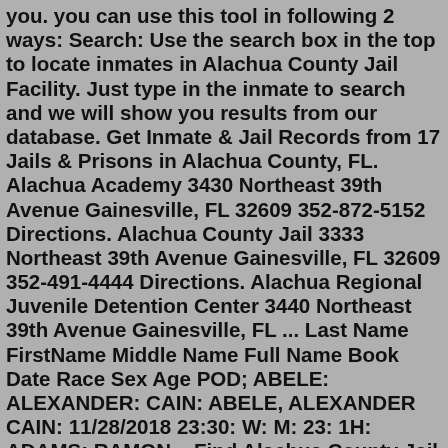you. you can use this tool in following 2 ways: Search: Use the search box in the top to locate inmates in Alachua County Jail Facility. Just type in the inmate to search and we will show you results from our database. Get Inmate & Jail Records from 17 Jails & Prisons in Alachua County, FL. Alachua Academy 3430 Northeast 39th Avenue Gainesville, FL 32609 352-872-5152 Directions. Alachua County Jail 3333 Northeast 39th Avenue Gainesville, FL 32609 352-491-4444 Directions. Alachua Regional Juvenile Detention Center 3440 Northeast 39th Avenue Gainesville, FL ... Last Name FirstName Middle Name Full Name Book Date Race Sex Age POD; ABELE: ALEXANDER: CAIN: ABELE, ALEXANDER CAIN: 11/28/2018 23:30: W: M: 23: 1H: ADAMS: RAMON ...Find Alachua County Jail Records. Alachua County Jail Records are documents created by Florida State and local law enforcement authorities whenever a person is arrested and taken into custody in Alachua County, Florida. Jail Records include important information about an individual's criminal history, including